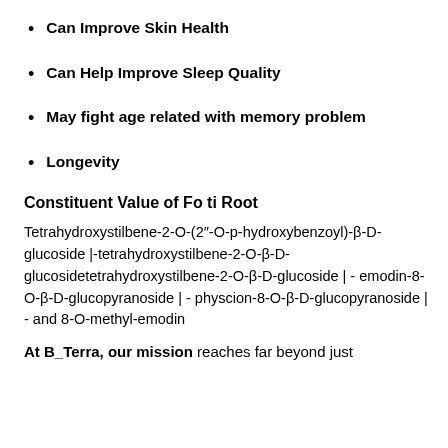Can Improve Skin Health
Can Help Improve Sleep Quality
May fight age related with memory problem
Longevity
Constituent Value of Fo ti Root
Tetrahydroxystilbene-2-O-(2"-O-p-hydroxybenzoyl)-β-D-glucoside |-tetrahydroxystilbene-2-O-β-D-glucosidetetrahydroxystilbene-2-O-β-D-glucoside | - emodin-8-O-β-D-glucopyranoside | - physcion-8-O-β-D-glucopyranoside | - and 8-O-methyl-emodin
At B_Terra, our mission reaches far beyond just